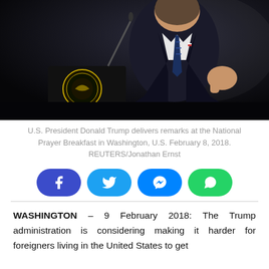[Figure (photo): U.S. President Donald Trump speaking at a podium with the presidential seal, against a dark background, wearing a dark suit and blue striped tie.]
U.S. President Donald Trump delivers remarks at the National Prayer Breakfast in Washington, U.S. February 8, 2018. REUTERS/Jonathan Ernst
[Figure (infographic): Social media share buttons: Facebook, Twitter, Messenger, WhatsApp]
WASHINGTON – 9 February 2018: The Trump administration is considering making it harder for foreigners living in the United States to get green cards if they or their American-born